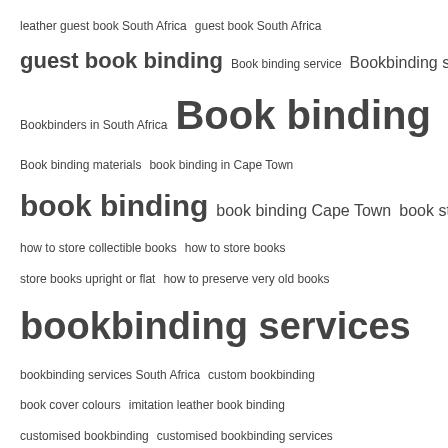leather guest book South Africa   guest book South Africa
guest book binding   Book binding service   Bookbinding services
Bookbinders in South Africa   Book binding
Book binding materials   book binding in Cape Town
book binding   book binding Cape Town   book storage
how to store collectible books   how to store books
store books upright or flat   how to preserve very old books
bookbinding services
bookbinding services South Africa   custom bookbinding
book cover colours   imitation leather book binding
customised bookbinding   customised bookbinding services
bible repairs   bible cover repair   bible repair and rebinding
book cover repair
Browse all tags